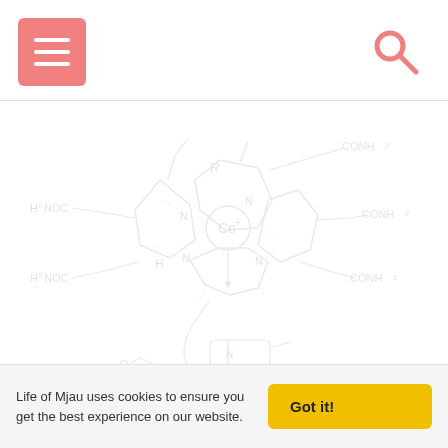Navigation bar with menu button and search icon
[Figure (schematic): Cobalamin (vitamin B12) chemical structure diagram shown as a faint watermark in light gray. The corrin ring system with cobalt center (Co+) is shown with R group, surrounded by amide side chains (CONH2), H2NOC groups, and a benzimidazole nucleotide loop below. Labels include CONH2 (multiple), H2NOC (multiple), R, Co+, N (multiple), H, NH, HO.]
Life of Mjau uses cookies to ensure you get the best experience on our website.
Got it!